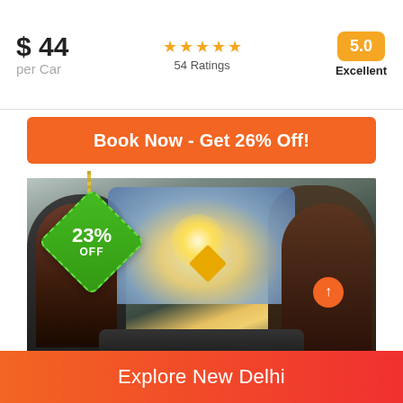$ 44 per Car
54 Ratings
5.0 Excellent
Book Now - Get 26% Off!
[Figure (photo): Interior view of a car with passengers, driver at wheel, bright sunlight through windshield, road ahead. A green diamond-shaped tag showing 23% OFF hangs in the upper left of the image.]
Explore New Delhi